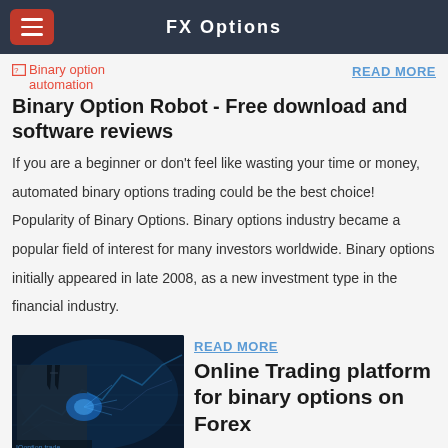FX Options
[Figure (other): Broken image placeholder for Binary option automation]
READ MORE
Binary Option Robot - Free download and software reviews
If you are a beginner or don't feel like wasting your time or money, automated binary options trading could be the best choice! Popularity of Binary Options. Binary options industry became a popular field of interest for many investors worldwide. Binary options initially appeared in late 2008, as a new investment type in the financial industry.
[Figure (photo): Person in suit using a glowing digital trading interface with financial charts in the background]
READ MORE
Online Trading platform for binary options on Forex
2020/03/23 · Best Automated IQoption Bot with high 80% win rate and Money management. Trade using our Proven Binary Option